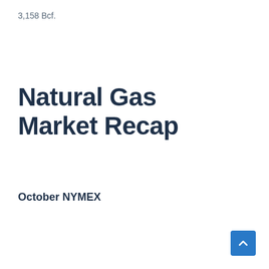3,158 Bcf.
Natural Gas Market Recap
October NYMEX